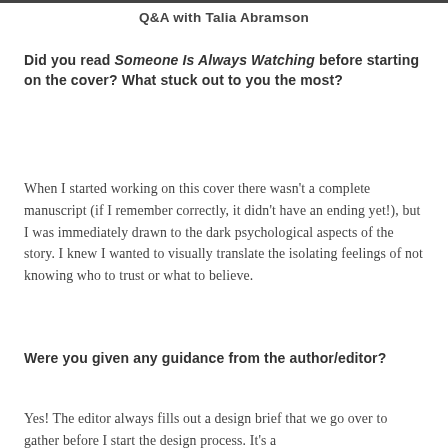Q&A with Talia Abramson
Did you read Someone Is Always Watching before starting on the cover? What stuck out to you the most?
When I started working on this cover there wasn't a complete manuscript (if I remember correctly, it didn't have an ending yet!), but I was immediately drawn to the dark psychological aspects of the story. I knew I wanted to visually translate the isolating feelings of not knowing who to trust or what to believe.
Were you given any guidance from the author/editor?
Yes! The editor always fills out a design brief that we go over to gather before I start the design process. It's a